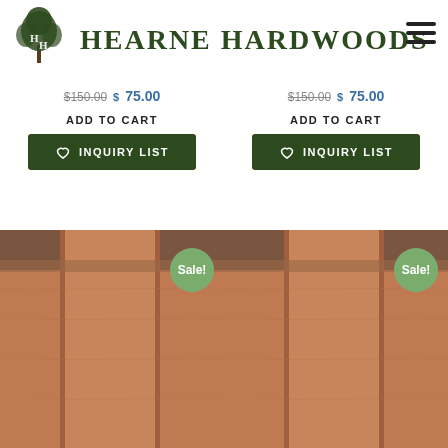[Figure (logo): Hearne Hardwoods logo with tree and H H letters]
HEARNE HARDWOODS
$150.00 $75.00 (left product price, strikethrough original)
$150.00 $75.00 (right product price, strikethrough original)
ADD TO CART
ADD TO CART
INQUIRY LIST
INQUIRY LIST
[Figure (photo): Wood product photo with Sale badge, left]
[Figure (photo): Wood product photo with Sale badge, right]